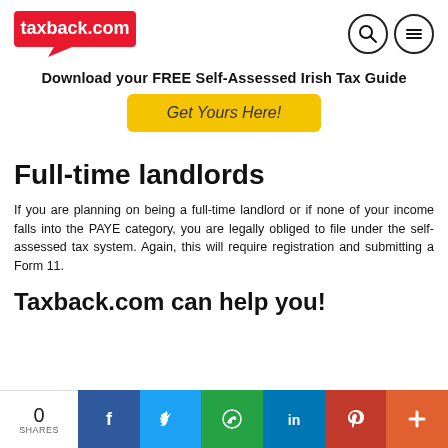[Figure (logo): taxback.com red speech bubble logo with search and menu icons]
Download your FREE Self-Assessed Irish Tax Guide
Get Yours Here!
Full-time landlords
If you are planning on being a full-time landlord or if none of your income falls into the PAYE category, you are legally obliged to file under the self-assessed tax system. Again, this will require registration and submitting a Form 11.
Taxback.com can help you!
0 SHARES